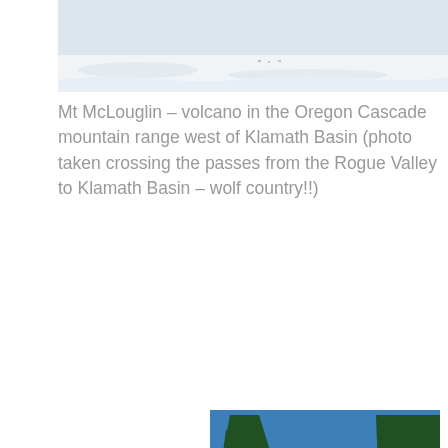[Figure (photo): Top portion of a winter snow scene, showing a wide snowy landscape with snow-covered ground and some dark specks in the distance, cropped to show just the lower sky and ground.]
Mt McLouglin – volcano in the Oregon Cascade mountain range west of Klamath Basin (photo taken crossing the passes from the Rogue Valley to Klamath Basin – wolf country!!)
[Figure (photo): Snow-covered evergreen trees (tall fir or pine trees) lining a road or path, with a clear bright blue sky in the background. The trees are heavily laden with snow. View looking up between two columns of tall snow-covered conifers.]